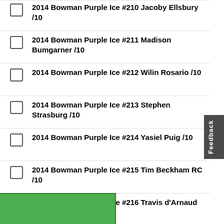2014 Bowman Purple Ice #210 Jacoby Ellsbury /10
2014 Bowman Purple Ice #211 Madison Bumgarner /10
2014 Bowman Purple Ice #212 Wilin Rosario /10
2014 Bowman Purple Ice #213 Stephen Strasburg /10
2014 Bowman Purple Ice #214 Yasiel Puig /10
2014 Bowman Purple Ice #215 Tim Beckham RC /10
2014 Bowman Purple Ice #216 Travis d'Arnaud RC /10
2014 Bowman Purple Ice #217 Enny Romero RC /10
2014 Bowman Purple Ice #218 David Holmberg RC /10